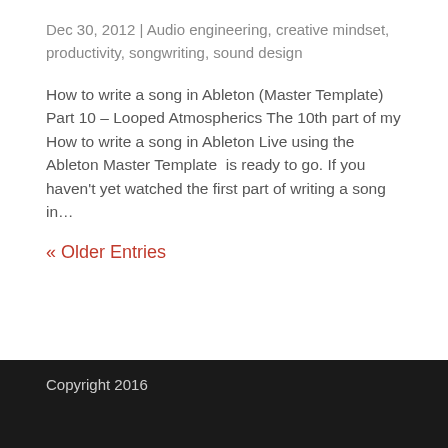Dec 30, 2012 | Audio engineering, creative mindset, productivity, songwriting, sound design
How to write a song in Ableton (Master Template)  Part 10 – Looped Atmospherics The 10th part of my How to write a song in Ableton Live using the Ableton Master Template  is ready to go. If you haven't yet watched the first part of writing a song in…
« Older Entries
Copyright 2016